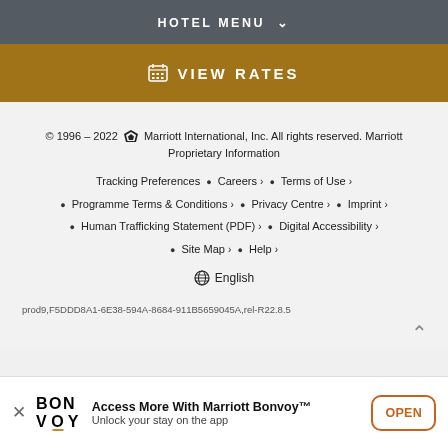HOTEL MENU
VIEW RATES
© 1996 – 2022 Marriott International, Inc. All rights reserved. Marriott Proprietary Information
Tracking Preferences • Careers › • Terms of Use › • Programme Terms & Conditions › • Privacy Centre › • Imprint › • Human Trafficking Statement (PDF) › • Digital Accessibility › • Site Map › • Help ›
English
prod9,F5DDD8A1-6E38-594A-8684-911B5659045A,rel-R22.8.5
Access More With Marriott Bonvoy™
Unlock your stay on the app